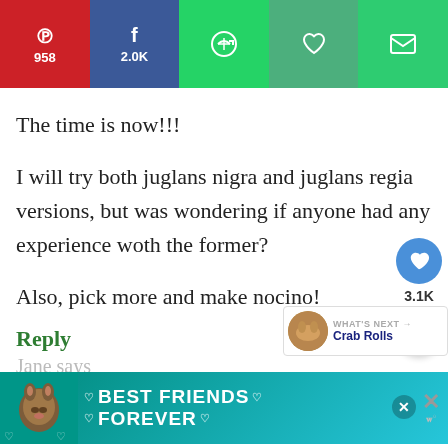[Figure (infographic): Social share bar with Pinterest (958), Facebook (2.0K), WhatsApp, heart/like, and email buttons]
The time is now!!!
I will try both juglans nigra and juglans regia versions, but was wondering if anyone had any experience woth the former?
Also, pick more and make nocino!
Reply
Jane says
[Figure (infographic): Advertisement banner: Best Friends Forever with cat image]